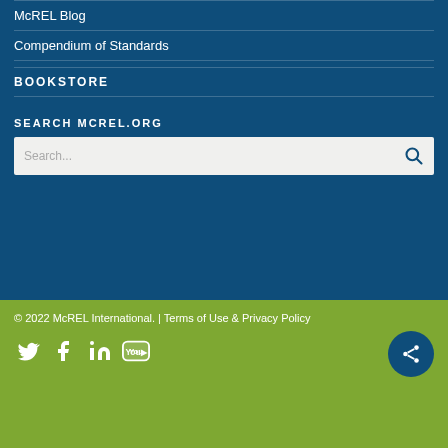McREL Blog
Compendium of Standards
BOOKSTORE
SEARCH MCREL.ORG
[Figure (screenshot): Search input box with placeholder text 'Search...' and a search magnifying glass icon on the right]
© 2022 McREL International. | Terms of Use & Privacy Policy
[Figure (infographic): Social media icons: Twitter, Facebook, LinkedIn, YouTube, and a share button circle on the right]